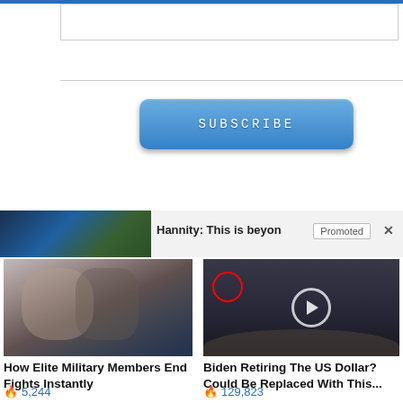[Figure (screenshot): Top blue navigation bar with white input/text box below]
[Figure (other): Blue SUBSCRIBE button with rounded corners]
[Figure (screenshot): Promoted content banner with thumbnail and 'Hannity: This is beyon' text, Promoted label and X close button]
[Figure (photo): Two men in a martial arts or fighting stance, one grabbing the other's neck]
How Elite Military Members End Fights Instantly
🔥 5,244
[Figure (photo): Group of men in suits standing at CIA headquarters, one circled in red, play button overlay]
Biden Retiring The US Dollar? Could Be Replaced With This...
🔥 129,823